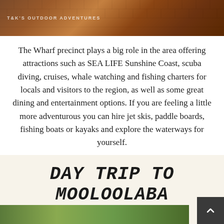[Figure (photo): Top photo strip showing textured wooden/tile roof surface with T&K's Outdoor Adventures watermark text]
The Wharf precinct plays a big role in the area offering attractions such as SEA LIFE Sunshine Coast, scuba diving, cruises, whale watching and fishing charters for locals and visitors to the region, as well as some great dining and entertainment options. If you are feeling a little more adventurous you can hire jet skis, paddle boards, fishing boats or kayaks and explore the waterways for yourself.
[Figure (infographic): Day Trip to Mooloolaba card on cream/beige background with handwritten-style title text, subtitle 'THE VELO PROJECT CAFE MOOLOOLABA, SUNSHINE COAST, QLD', and partial photo strip at bottom]